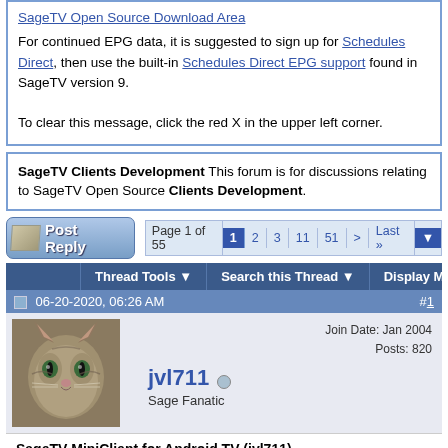For continued EPG data, it is suggested to sign up for Schedules Direct, then use the built-in Schedules Direct EPG support found in SageTV version 9.

To clear this message, click the red X in the upper left corner.
SageTV Clients Development This forum is for discussions relating to SageTV Open Source Clients Development.
Post Reply | Page 1 of 55 | 1 2 3 11 51 > Last »
Thread Tools ▼  Search this Thread ▼  Display Modes ▼
06-20-2020, 06:26 AM #1
[Figure (photo): Profile photo of a tabby cat]
Join Date: Jan 2004
Posts: 820
jvl711
Sage Fanatic
SageTV MiniClient for Android TV (jvl711)
This has morphed from me sharing a fork of the SageTV MiniClient to maintaining and posting releases of Stuckless'